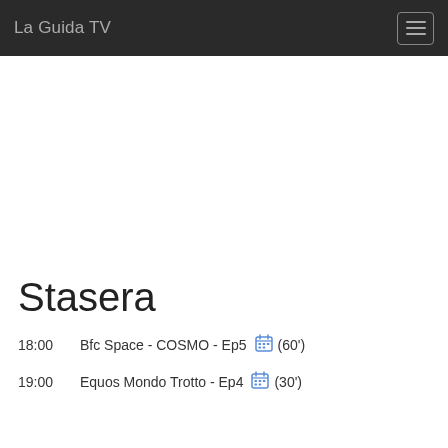La Guida TV
Stasera
18:00   Bfc Space - COSMO - Ep5   (60')
19:00   Equos Mondo Trotto - Ep4   (30')